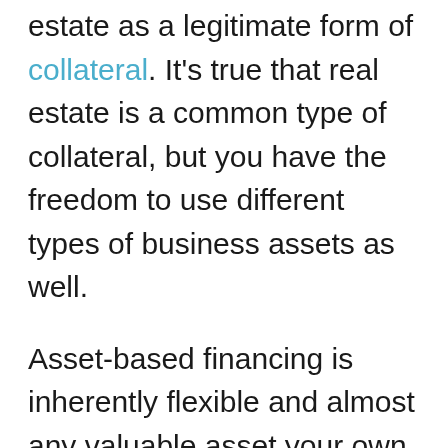estate as a legitimate form of collateral. It's true that real estate is a common type of collateral, but you have the freedom to use different types of business assets as well.
Asset-based financing is inherently flexible and almost any valuable asset your own can be used. You can also combine different assets and bundle them together to access a greater borrowing base.